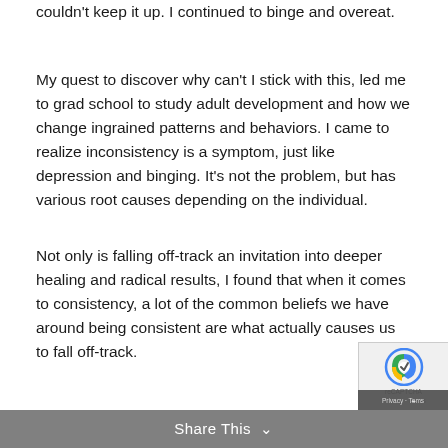couldn't keep it up. I continued to binge and overeat.
My quest to discover why can't I stick with this, led me to grad school to study adult development and how we change ingrained patterns and behaviors. I came to realize inconsistency is a symptom, just like depression and binging. It's not the problem, but has various root causes depending on the individual.
Not only is falling off-track an invitation into deeper healing and radical results, I found that when it comes to consistency, a lot of the common beliefs we have around being consistent are what actually causes us to fall off-track.
In this Insatiable season, we will look at
Share This